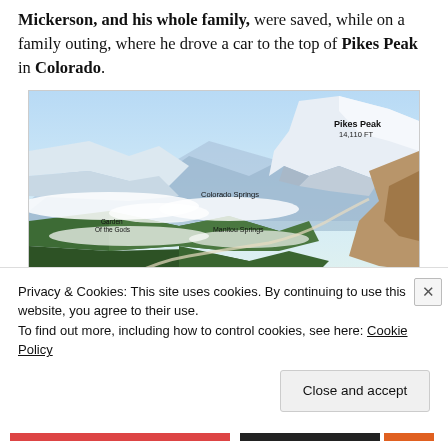Mickerson, and his whole family, were saved, while on a family outing, where he drove a car to the top of Pikes Peak in Colorado.
[Figure (map): Illustrated aerial panorama map of Pikes Peak area in Colorado, showing labeled landmarks: Pikes Peak 14,110 FT, Colorado Springs, Garden Of the Gods, Manitou Springs. Snow-capped mountain peaks, forested valleys, and clouds are depicted in a painterly style.]
Privacy & Cookies: This site uses cookies. By continuing to use this website, you agree to their use.
To find out more, including how to control cookies, see here: Cookie Policy